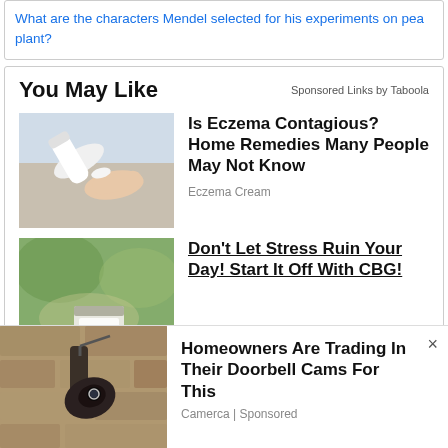What are the characters Mendel selected for his experiments on pea plant?
You May Like
Sponsored Links by Taboola
[Figure (photo): Close-up photo of a hand/finger with a white cream or tube being applied]
Is Eczema Contagious? Home Remedies Many People May Not Know
Eczema Cream
[Figure (photo): Blurred green outdoor background with a small white rectangular object in foreground]
Don't Let Stress Ruin Your Day! Start It Off With CBG!
We use cookies on our website to give you the most relevant experience by remembering your preferences and repeat visits. By clicking “Accept”, you consent to the use of ALL the cookies.
Do not sell my personal information.
[Figure (photo): Outdoor security camera mounted on a stone wall]
Homeowners Are Trading In Their Doorbell Cams For This
Camerca | Sponsored